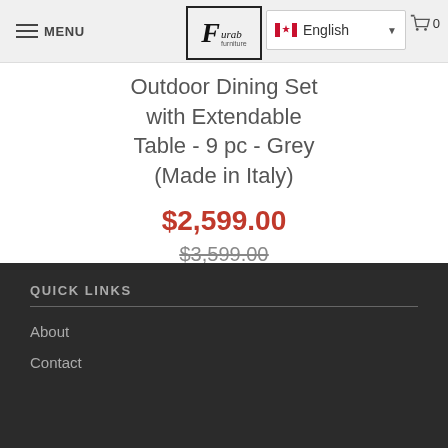MENU | Furab | English | 0
Outdoor Dining Set with Extendable Table - 9 pc - Grey (Made in Italy)
$2,599.00
$3,599.00
[Figure (other): Grey color swatch square]
QUICK LINKS
About
Contact